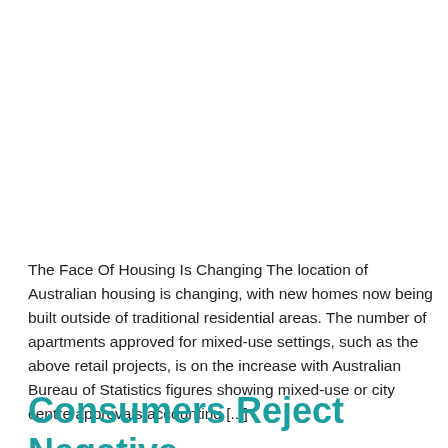The Face Of Housing Is Changing The location of Australian housing is changing, with new homes now being built outside of traditional residential areas. The number of apartments approved for mixed-use settings, such as the above retail projects, is on the increase with Australian Bureau of Statistics figures showing mixed-use or city centre approvals accounting [...]
Consumers Reject Negative